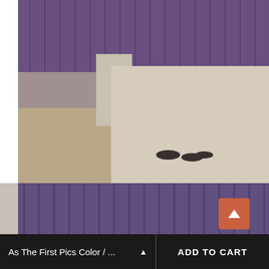[Figure (photo): Top photo showing the bottom skirt/hem of a purple dress laid on a light beige sofa, with wooden floor and shoes visible in the background.]
[Figure (photo): Bottom photo showing the full purple dress with pink ribbon bodice lacing and bow at the waist, laid flat on a tufted beige sofa. The dress has off-shoulder ruffled straps and a full tulle skirt.]
As The First Pics Color / ...
ADD TO CART